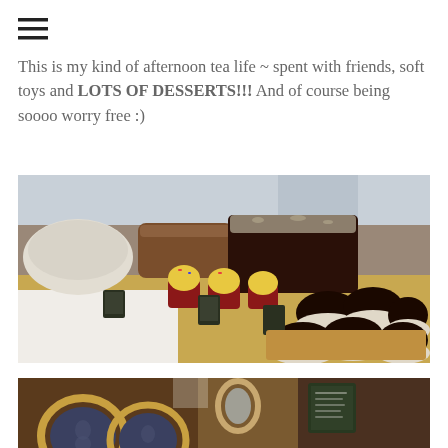[Figure (other): Hamburger menu icon (three horizontal lines)]
This is my kind of afternoon tea life ~ spent with friends, soft toys and LOTS OF DESSERTS!!! And of course being soooo worry free :)
[Figure (photo): A bakery/café display counter showing various desserts including bread loaves, dark chocolate cake, cupcakes with yellow frosting, and dark ramekin desserts arranged on wooden boards with small chalkboard signs]
[Figure (photo): Interior of a café showing ornate wooden chairs with oval upholstered backs in dark fabric with pattern, a mirror, and chalkboard menu signs in background]